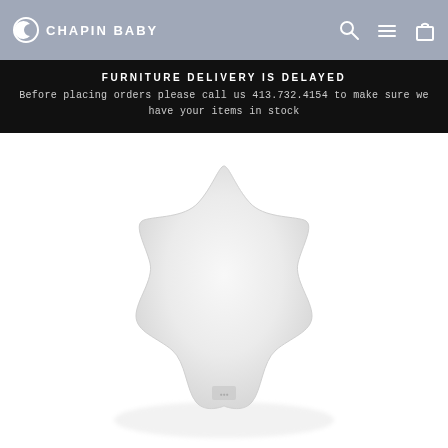CHAPIN BABY
FURNITURE DELIVERY IS DELAYED
Before placing orders please call us 413.732.4154 to make sure we have your items in stock
[Figure (photo): A white star-shaped plush pillow/cushion on a white background]